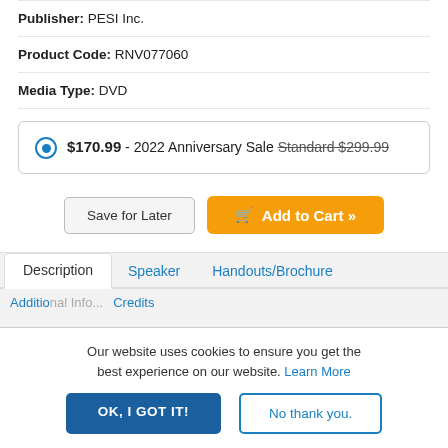Publisher: PESI Inc.
Product Code: RNV077060
Media Type: DVD
$170.99 - 2022 Anniversary Sale Standard $299.99
Save for Later
Add to Cart »
Description
Speaker
Handouts/Brochure
Our website uses cookies to ensure you get the best experience on our website. Learn More
OK, I GOT IT!
No thank you.